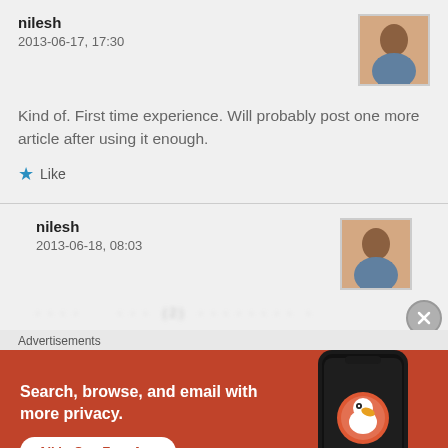nilesh
2013-06-17, 17:30
Kind of. First time experience. Will probably post one more article after using it enough.
Like
nilesh
2013-06-18, 08:03
Advertisements
[Figure (screenshot): DuckDuckGo advertisement banner with orange/red background showing 'Search, browse, and email with more privacy. All in One Free App' text and a phone mockup with DuckDuckGo logo]